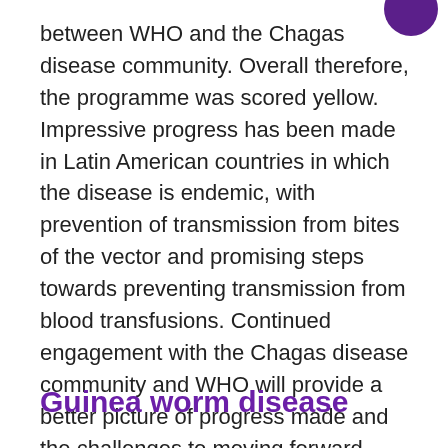between WHO and the Chagas disease community. Overall therefore, the programme was scored yellow. Impressive progress has been made in Latin American countries in which the disease is endemic, with prevention of transmission from bites of the vector and promising steps towards preventing transmission from blood transfusions. Continued engagement with the Chagas disease community and WHO will provide a better picture of progress made and the challenges to moving forward.
Guinea worm disease